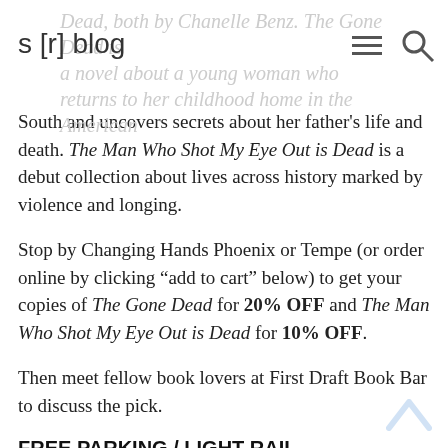s [r] blog
South and uncovers secrets about her father's life and death. The Man Who Shot My Eye Out is Dead is a debut collection about lives across history marked by violence and longing.
Stop by Changing Hands Phoenix or Tempe (or order online by clicking “add to cart” below) to get your copies of The Gone Dead for 20% OFF and The Man Who Shot My Eye Out is Dead for 10% OFF.
Then meet fellow book lovers at First Draft Book Bar to discuss the pick.
FREE PARKING / LIGHT RAIL
Don’t want to drive? Take the Light Rail!